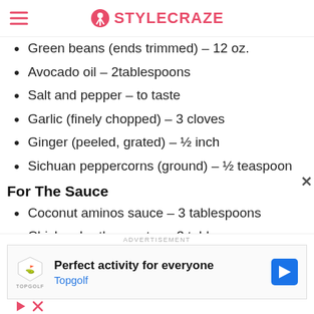STYLECRAZE
Green beans (ends trimmed) – 12 oz.
Avocado oil – 2tablespoons
Salt and pepper – to taste
Garlic (finely chopped) – 3 cloves
Ginger (peeled, grated) – ½ inch
Sichuan peppercorns (ground) – ½ teaspoon
For The Sauce
Coconut aminos sauce – 3 tablespoons
Chicken broth or water – 3 tablespoons
[Figure (screenshot): Advertisement banner for Topgolf: 'Perfect activity for everyone' with Topgolf logo and navigation arrow icon]